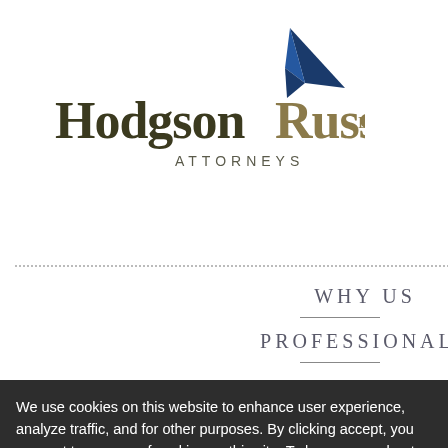[Figure (logo): Hodgson Russ LLP Attorneys logo with blue arrow/triangle above the text]
the new G... vent levels. M... alysis, including... anslate easily be...
Market Share Sa...
According to the ... unlikely to challer... parties to the mer... market of less tha... used in less than...
WHY US
PROFESSIONALS
We use cookies on this website to enhance user experience, analyze traffic, and for other purposes. By clicking accept, you consent to our use of cookies on this site. To learn more about cookies and how we use them, please review our Privacy Policy.